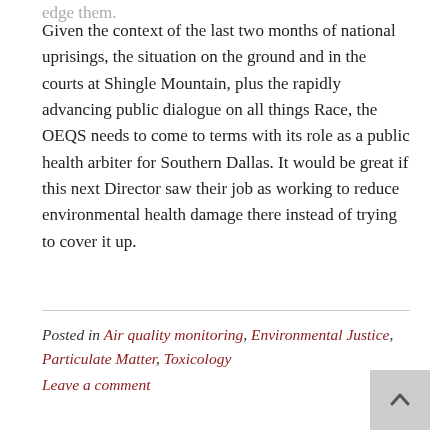Given the context of the last two months of national uprisings, the situation on the ground and in the courts at Shingle Mountain, plus the rapidly advancing public dialogue on all things Race, the OEQS needs to come to terms with its role as a public health arbiter for Southern Dallas. It would be great if this next Director saw their job as working to reduce environmental health damage there instead of trying to cover it up.
Posted in Air quality monitoring, Environmental Justice, Particulate Matter, Toxicology
Leave a comment